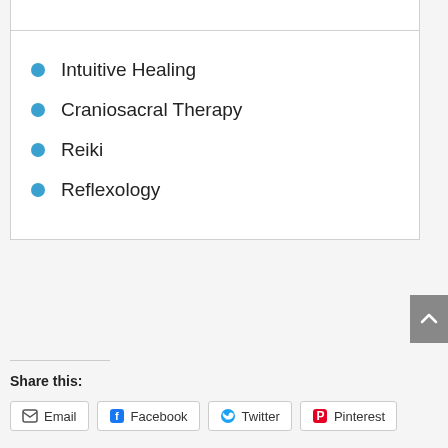Intuitive Healing
Craniosacral Therapy
Reiki
Reflexology
Share this:
Email  Facebook  Twitter  Pinterest